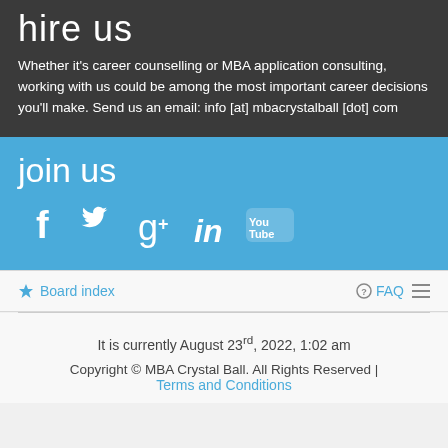hire us
Whether it's career counselling or MBA application consulting, working with us could be among the most important career decisions you'll make. Send us an email: info [at] mbacrystalball [dot] com
join us
[Figure (other): Social media icons: Facebook, Twitter, Google+, LinkedIn, YouTube]
Board index
FAQ
It is currently August 23rd, 2022, 1:02 am
Copyright © MBA Crystal Ball. All Rights Reserved | Terms and Conditions